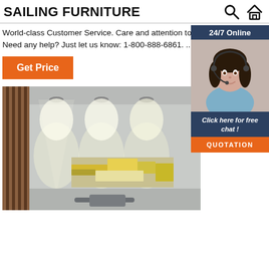SAILING FURNITURE
World-class Customer Service. Care and attention to detail on all orders. Need any help? Just let us know: 1-800-888-6861. ...
Get Price
[Figure (infographic): Customer service widget: 24/7 Online banner, photo of female agent with headset smiling, 'Click here for free chat!' text, and 'QUOTATION' orange button]
[Figure (photo): Interior room photo showing wall-mounted spotlights illuminating a white wall with a horizontal yellow/gold abstract artwork panel, and wooden wall slats on the left. A dark chair back is visible at the bottom.]